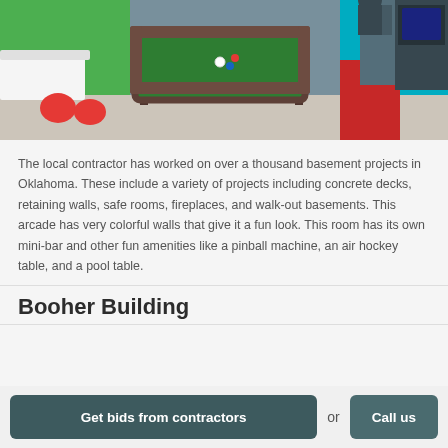[Figure (photo): Interior of a colorful arcade/game room in a basement. There is a wooden pool table with green felt in the center, red chairs on the left, a counter/bar area, colorful walls (green, teal, red), and arcade machines on the right.]
The local contractor has worked on over a thousand basement projects in Oklahoma. These include a variety of projects including concrete decks, retaining walls, safe rooms, fireplaces, and walk-out basements. This arcade has very colorful walls that give it a fun look. This room has its own mini-bar and other fun amenities like a pinball machine, an air hockey table, and a pool table.
Booher Building
Get bids from contractors
Call us